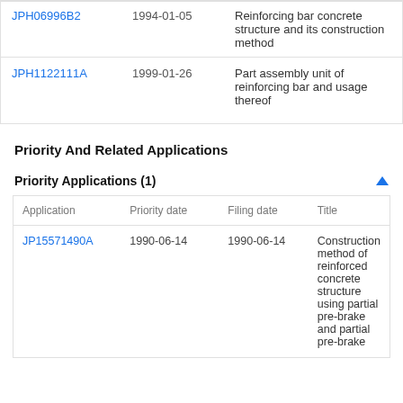|  |  |
| --- | --- |
| JPH06996B2 | 1994-01-05 | Reinforcing bar concrete structure and its construction method |
| JPH1122111A | 1999-01-26 | Part assembly unit of reinforcing bar and usage thereof |
Priority And Related Applications
Priority Applications (1)
| Application | Priority date | Filing date | Title |
| --- | --- | --- | --- |
| JP15571490A | 1990-06-14 | 1990-06-14 | Construction method of reinforced concrete structure using partial pre-brake and partial pre-brake |